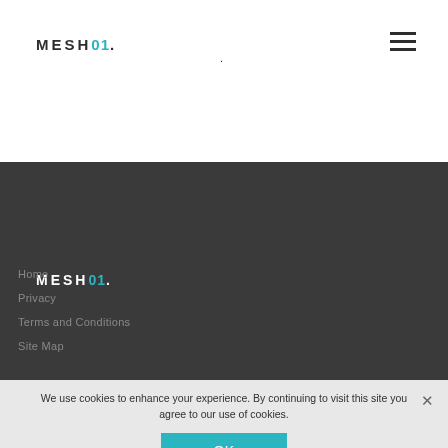MESH01.
.
Subscribe
[Figure (logo): MESH01 logo in white section footer with teal 01]
Home
Privacy
Terms and Conditions
Site Map
We use cookies to enhance your experience. By continuing to visit this site you agree to our use of cookies.
OK